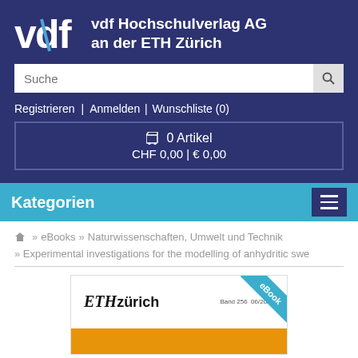vdf Hochschulverlag AG an der ETH Zürich
Suche
Registrieren | Anmelden | Wunschliste (0)
0 Artikel CHF 0,00 | € 0,00
Kategorien
» eBooks » Naturwissenschaften, Umwelt und Technik
» Experimental investigations for the modelling of anhydritic swe
[Figure (screenshot): eBook cover of a publication from ETH Zürich, Band 256, 06/2020, with an eBook ribbon badge in teal/blue, white top section with ETH Zürich logo and band info, and an orange bottom band.]